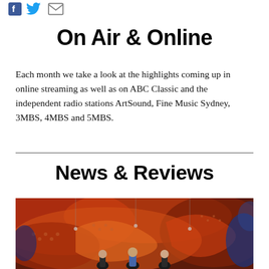[Figure (illustration): Social media share icons: Facebook f logo, Twitter bird logo in blue, and email envelope icon]
On Air & Online
Each month we take a look at the highlights coming up in online streaming as well as on ABC Classic and the independent radio stations ArtSound, Fine Music Sydney, 3MBS, 4MBS and 5MBS.
News & Reviews
[Figure (photo): Performance or opera scene on a stage with vivid red and orange abstract Indigenous-style painted backdrop, performers visible in foreground with dramatic lighting]